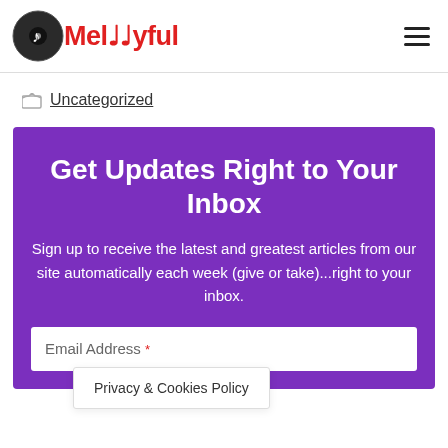Melodyful
Uncategorized
Get Updates Right to Your Inbox
Sign up to receive the latest and greatest articles from our site automatically each week (give or take)...right to your inbox.
Email Address *
Privacy & Cookies Policy